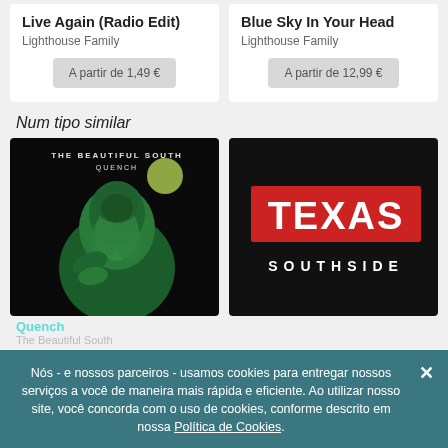Live Again (Radio Edit)
Lighthouse Family
A partir de 1,49 €
Blue Sky In Your Head
Lighthouse Family
A partir de 12,99 €
Num tipo similar
[Figure (photo): Album cover: The Beautiful South - Quench, dark green sculpture figure]
[Figure (photo): Album cover: Texas - Southside, black background with red TEXAS logo and white SOUTHSIDE text]
Nós - e nossos parceiros - usamos cookies para entregar nossos serviços a você de maneira mais rápida e eficiente. Ao utilizar nosso site, você concorda com o uso de cookies, conforme descrito em nossa Política de Cookies.